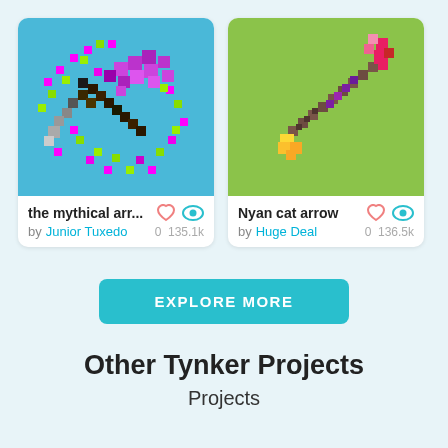[Figure (screenshot): Pixel art arrow with purple head and green/magenta sparkles on blue background]
the mythical arr...
by Junior Tuxedo
0   135.1k
[Figure (screenshot): Pixel art arrow (wand/arrow) with red/pink top, golden base, brown shaft, on green background]
Nyan cat arrow
by Huge Deal
0   136.5k
EXPLORE MORE
Other Tynker Projects
Projects